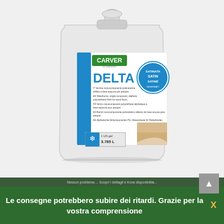[Figure (photo): A white plastic jug/container of Carver by Blanchon Delta floor varnish, satin finish (SATINATA / SATIN / SATINÉ), 1 US gal / 3.785L. The label is white with a blue vertical stripe on the left, green Carver logo at top, large blue DELTA text, multilingual product descriptions, a circular satin finish badge, and a volume indicator box.]
Le consegne potrebbero subire dei ritardi. Grazie per la vostra comprensione